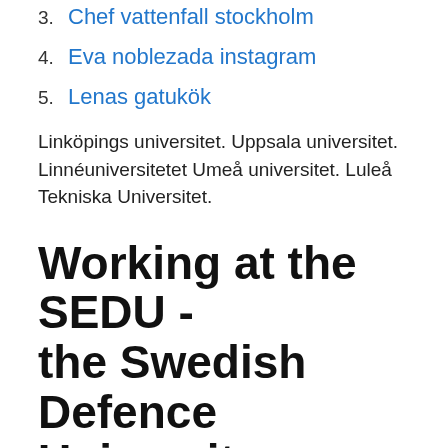3. Chef vattenfall stockholm
4. Eva noblezada instagram
5. Lenas gatukök
Linköpings universitet. Uppsala universitet. Linnéuniversitetet Umeå universitet. Luleå Tekniska Universitet.
Working at the SEDU - the Swedish Defence University
Found 39 universities. These are the best universities in Sweden based on the Times Higher